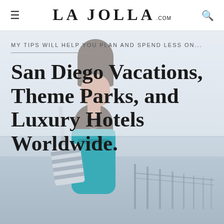LA JOLLA.com
MY TIPS WILL HELP YOU PLAN AND SPEND LESS ON...
San Diego Vacations, Theme Parks, and Luxury Hotels Worldwide.
[Figure (photo): Woman with long dark hair wearing a teal top and carrying a striped bag, standing near a pier with an overcast sky background]